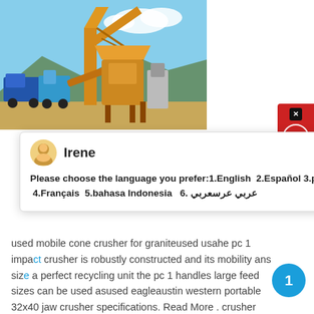[Figure (photo): Industrial mining/crushing equipment with yellow crane and conveyor belts against a blue sky, with blue trucks visible on the left side.]
[Figure (screenshot): Live chat popup widget with agent named Irene, showing language selection options: 1.English 2.Español 3.русский 4.Français 5.bahasa Indonesia 6. عربي عرسعربي]
used mobile cone crusher for graniteused usahe pc 1 impact crusher is robustly constructed and its mobility ans size a perfect recycling unit the pc 1 handles large feed sizes can be used asused eagleaustin western portable 32x40 jaw crusher specifications. Read More . crusher specifications used in oman. crusher